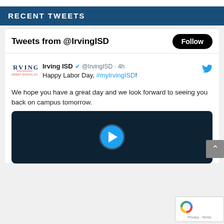RECENT TWEETS
Tweets from @IrvingISD
Irving ISD @IrvingISD · 4h
Happy Labor Day, #myIrvingISD!

We hope you have a great day and we look forward to seeing you back on campus tomorrow.
[Figure (screenshot): Video thumbnail with play button on dark background]